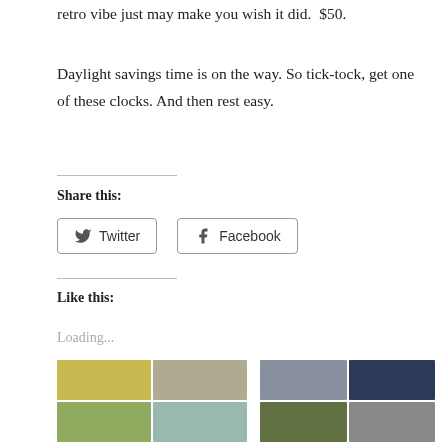retro vibe just may make you wish it did.  $50.
Daylight savings time is on the way. So tick-tock, get one of these clocks. And then rest easy.
Share this:
Like this:
Loading...
[Figure (photo): Grid of four home decor photos: yellow gingham tableware, beige room, green gingham lamp, white/teal room accents]
[Figure (photo): Grid of four home decor photos: lamp on table, navy/white geometric pattern, green curtains, gray decor]